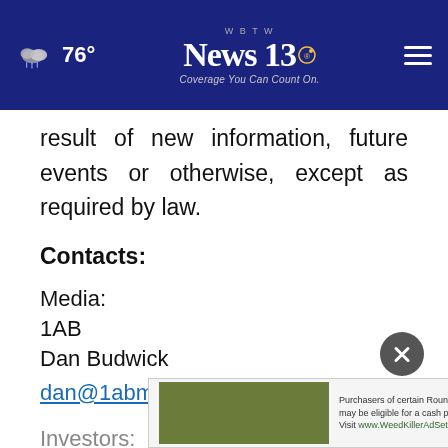76° | WBTW News 13 | Coverage You Can Count On.
result of new information, future events or otherwise, except as required by law.
Contacts:
Media:
1AB
Dan Budwick
dan@1abmedia.com
Investors:
LifeS...